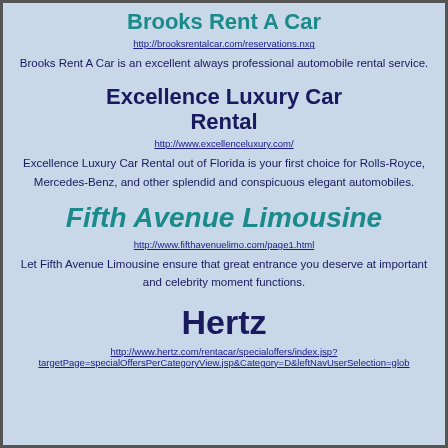Brooks Rent A Car
http://brooksrentalcar.com/reservations.nxg
Brooks Rent A Car is an excellent always professional automobile rental service.
Excellence Luxury Car Rental
http://www.excellenceluxury.com/
Excellence Luxury Car Rental out of Florida is your first choice for Rolls-Royce, Mercedes-Benz, and other splendid and conspicuous elegant automobiles.
Fifth Avenue Limousine
http://www.fifthavenuelimo.com/page1.html
Let Fifth Avenue Limousine ensure that great entrance you deserve at important and celebrity moment functions.
Hertz
http://www.hertz.com/rentacar/specialoffers/index.jsp?targetPage=specialOffersPerCategoryView.jsp&Category=D&leftNavUserSelection=glob